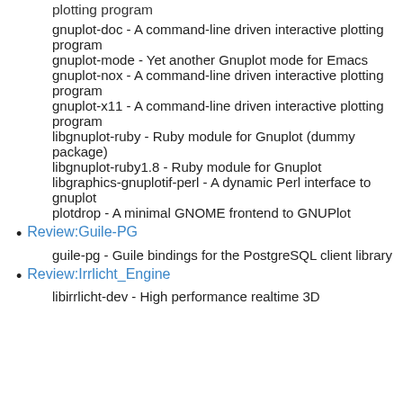plotting program
gnuplot-doc - A command-line driven interactive plotting program
gnuplot-mode - Yet another Gnuplot mode for Emacs
gnuplot-nox - A command-line driven interactive plotting program
gnuplot-x11 - A command-line driven interactive plotting program
libgnuplot-ruby - Ruby module for Gnuplot (dummy package)
libgnuplot-ruby1.8 - Ruby module for Gnuplot
libgraphics-gnuplotif-perl - A dynamic Perl interface to gnuplot
plotdrop - A minimal GNOME frontend to GNUPlot
Review:Guile-PG
guile-pg - Guile bindings for the PostgreSQL client library
Review:Irrlicht_Engine
libirrlicht-dev - High performance realtime 3D